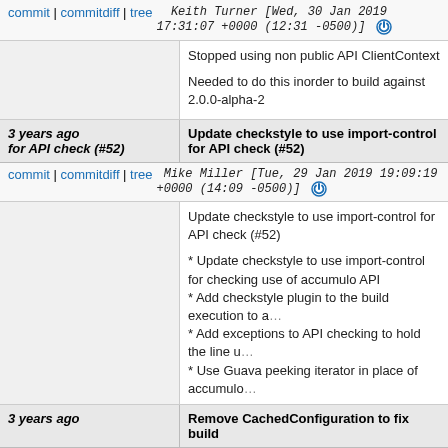commit | commitdiff | tree   Keith Turner [Wed, 30 Jan 2019 17:31:07 +0000 (12:31 -0500)]
Stopped using non public API ClientContext

Needed to do this inorder to build against 2.0.0-alpha-2
3 years ago for API check (#52)   Update checkstyle to use import-control for API check (#52)
commit | commitdiff | tree   Mike Miller [Tue, 29 Jan 2019 19:09:19 +0000 (14:09 -0500)]
Update checkstyle to use import-control for API check (#52)

* Update checkstyle to use import-control for checking use of accumulo API
* Add checkstyle plugin to the build execution to a...
* Add exceptions to API checking to hold the line u...
* Use Guava peeking iterator in place of accumulo...
3 years ago   Remove CachedConfiguration to fix build
commit | commitdiff | tree   Mike Miller [Mon, 28 Jan 2019 16:05:44 +0000 (11:05 -0500)]